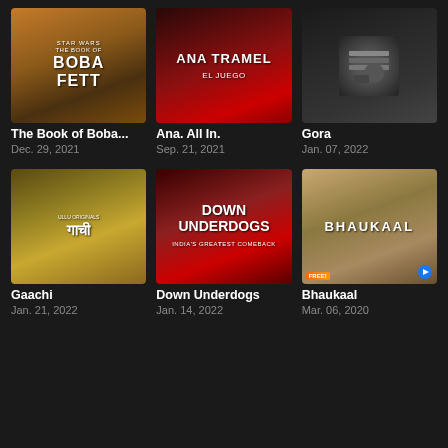[Figure (screenshot): Movie/TV show poster for The Book of Boba Fett (Star Wars)]
[Figure (screenshot): TV show poster for Ana. All In. (Ana Tramel El Juego) - red background with woman]
[Figure (screenshot): Show poster for Gora - man with books]
The Book of Boba...
Dec. 29, 2021
Ana. All In.
Sep. 21, 2021
Gora
Jan. 07, 2022
[Figure (screenshot): Show poster for Gaachi - Ullu Originals]
[Figure (screenshot): Show poster for Down Underdogs - India's Greatest Comeback]
[Figure (screenshot): Show poster for Bhaukaal - police officer]
Gaachi
Jan. 21, 2022
Down Underdogs
Jan. 14, 2022
Bhaukaal
Mar. 06, 2020